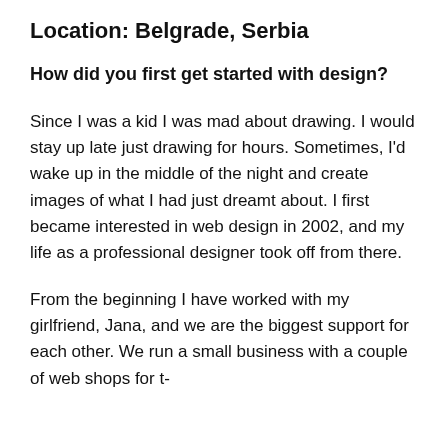Location: Belgrade, Serbia
How did you first get started with design?
Since I was a kid I was mad about drawing. I would stay up late just drawing for hours. Sometimes, I'd wake up in the middle of the night and create images of what I had just dreamt about. I first became interested in web design in 2002, and my life as a professional designer took off from there.
From the beginning I have worked with my girlfriend, Jana, and we are the biggest support for each other. We run a small business with a couple of web shops for t-